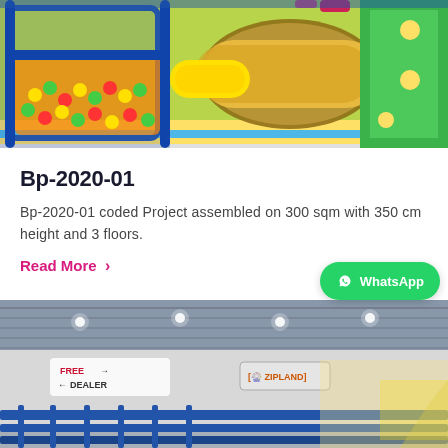[Figure (photo): Colorful indoor playground with ball pit (yellow, green, red balls), blue net structure, green and yellow tube slides, and multi-colored flooring]
Bp-2020-01
Bp-2020-01 coded Project assembled on 300 sqm with 350 cm height and 3 floors.
Read More >
[Figure (photo): Indoor play area with grey metal ceiling, recessed lighting, blue fence/rail structure in foreground, colorful signs on wall reading FREE and DEALER, and ZIPLAND sign visible]